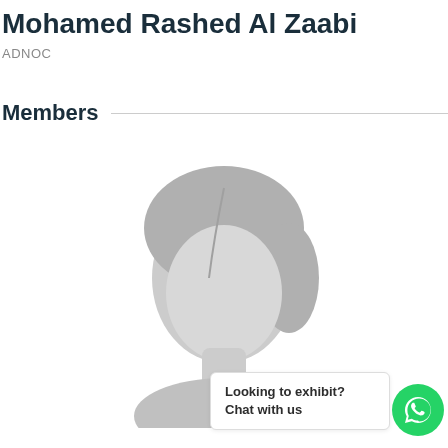Mohamed Rashed Al Zaabi
ADNOC
Members
[Figure (illustration): Generic placeholder avatar silhouette of a person with gray hair and face outline on white background]
Looking to exhibit? Chat with us